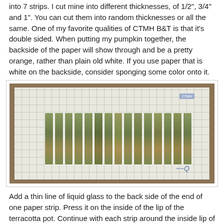into 7 strips. I cut mine into different thicknesses, of 1/2", 3/4" and 1". You can cut them into random thicknesses or all the same. One of my favorite qualities of CTMH B&T is that it's double sided. When putting my pumpkin together, the backside of the paper will show through and be a pretty orange, rather than plain old white. If you use paper that is white on the backside, consider sponging some color onto it.
[Figure (photo): Photo of patterned paper strips laid out on a white cutting mat on a wooden table surface. The strips are vertical, green/olive patterned paper arranged side by side.]
Add a thin line of liquid glass to the back side of the end of one paper strip. Press it on the inside of the lip of the terracotta pot. Continue with each strip around the inside lip of the pot until all strips are used. The pieces should overlap a little. Be sure the 'right' side of the paper is all facing...